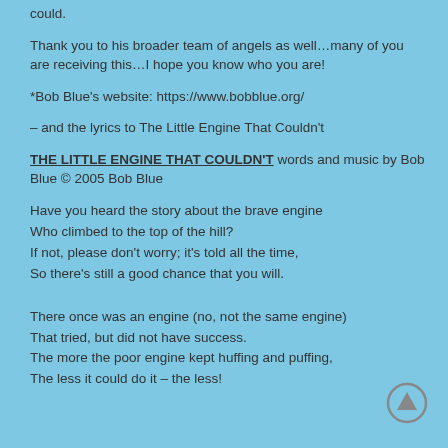could.
Thank you to his broader team of angels as well…many of you are receiving this…I hope you know who you are!
*Bob Blue's website: https://www.bobblue.org/
– and the lyrics to The Little Engine That Couldn't
THE LITTLE ENGINE THAT COULDN'T words and music by Bob Blue © 2005 Bob Blue
Have you heard the story about the brave engine
Who climbed to the top of the hill?
If not, please don't worry; it's told all the time,
So there's still a good chance that you will.
There once was an engine (no, not the same engine)
That tried, but did not have success.
The more the poor engine kept huffing and puffing,
The less it could do it – the less!
[Figure (other): Up arrow circle button icon]